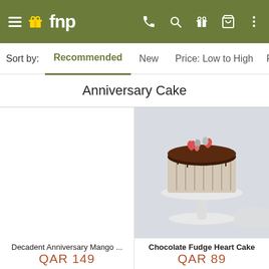fnp
Sort by: Recommended New Price: Low to High P...
Anniversary Cake
[Figure (photo): Chocolate Fudge Heart Cake on a white cake stand with heart decorations on top, shown on a light gray background]
Decadent Anniversary Mango ...
QAR 149
Chocolate Fudge Heart Cake
QAR 89